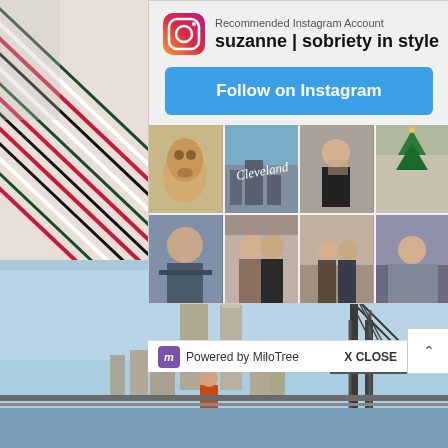[Figure (screenshot): Instagram recommended account popup overlay showing 'suzanne | sobriety in style' with Follow on Instagram button, a 4x2 photo grid of posts, and MiloTree branding. Background shows a striped textile photo on left and Cleveland skyline photo below.]
Recommended Instagram Account
suzanne | sobriety in style
Follow on Instagram
Powered by MiloTree
X CLOSE